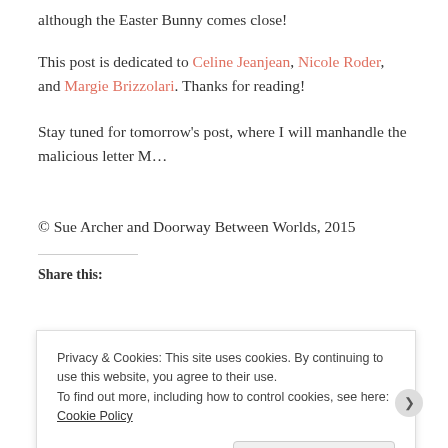although the Easter Bunny comes close!
This post is dedicated to Celine Jeanjean, Nicole Roder, and Margie Brizzolari. Thanks for reading!
Stay tuned for tomorrow's post, where I will manhandle the malicious letter M...
© Sue Archer and Doorway Between Worlds, 2015
Share this:
Privacy & Cookies: This site uses cookies. By continuing to use this website, you agree to their use. To find out more, including how to control cookies, see here: Cookie Policy
Close and accept